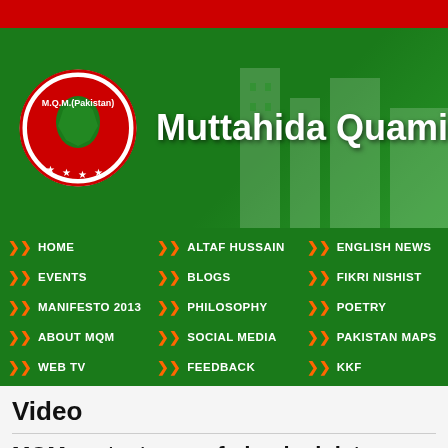[Figure (logo): Red top bar of MQM website]
[Figure (logo): MQM (Pakistan) website header with green background, circular logo showing Pakistan map, and site title 'Muttahida Quami M...']
HOME
EVENTS
MANIFESTO 2013
ABOUT MQM
WEB TV
ALTAF HUSSAIN
BLOGS
PHILOSOPHY
SOCIAL MEDIA
FEEDBACK
ENGLISH NEWS
FIKRI NISHIST
POETRY
PAKISTAN MAPS
KKF
Video
MQM protests over federal ministers re
[Figure (other): Black video thumbnail]